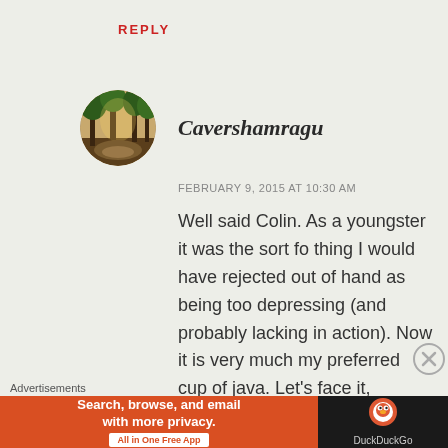REPLY
Cavershamragu
FEBRUARY 9, 2015 AT 10:30 AM
Well said Colin. As a youngster it was the sort fo thing I would have rejected out of hand as being too depressing (and probably lacking in action). Now it is very much my preferred cup of java. Let's face it, Dingo has a target on his back right
[Figure (photo): Circular avatar photo showing trees in a forest/park setting with sunlight filtering through]
Advertisements
[Figure (infographic): DuckDuckGo advertisement banner. Left side orange: 'Search, browse, and email with more privacy. All in One Free App'. Right side black: DuckDuckGo logo and name.]